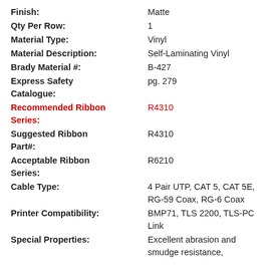Finish: Matte
Qty Per Row: 1
Material Type: Vinyl
Material Description: Self-Laminating Vinyl
Brady Material #: B-427
Express Safety Catalogue: pg. 279
Recommended Ribbon Series: R4310
Suggested Ribbon Part#: R4310
Acceptable Ribbon Series: R6210
Cable Type: 4 Pair UTP, CAT 5, CAT 5E, RG-59 Coax, RG-6 Coax
Printer Compatibility: BMP71, TLS 2200, TLS-PC Link
Special Properties: Excellent abrasion and smudge resistance,